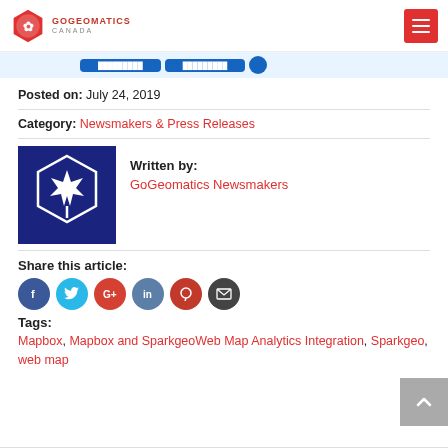GoGeomatics Canada
[Figure (screenshot): Partial banner with blue buttons cropped at top]
Posted on: July 24, 2019
Category: Newsmakers & Press Releases
Written by: GoGeomatics Newsmakers
Share this article:
Tags: Mapbox, Mapbox and SparkgeoWeb Map Analytics Integration, Sparkgeo, web map